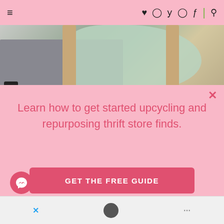≡ ♥ Instagram Twitter Pinterest Facebook | Search
[Figure (photo): Outdoor photo showing a mid-century chair with teal/green fabric, wooden legs, on gravel surface. A camera is visible in the lower left corner.]
Learn how to get started upcycling and repurposing thrift store finds.
GET THE FREE GUIDE
[Figure (other): Facebook Messenger chat bubble icon in pink circle]